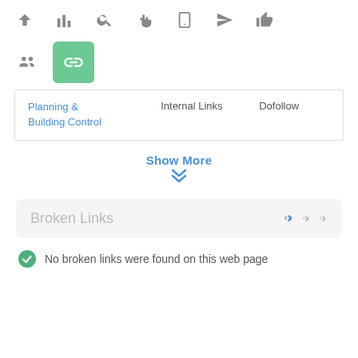[Figure (screenshot): Toolbar with navigation icons: up arrow, bar chart, search, hand/cursor, mobile, paper plane, thumbs up]
[Figure (screenshot): Second icon row with people/groups icon and a green box with a chain/link icon]
| Planning & Building Control | Internal Links | Dofollow |
Show More
Broken Links
No broken links were found on this web page